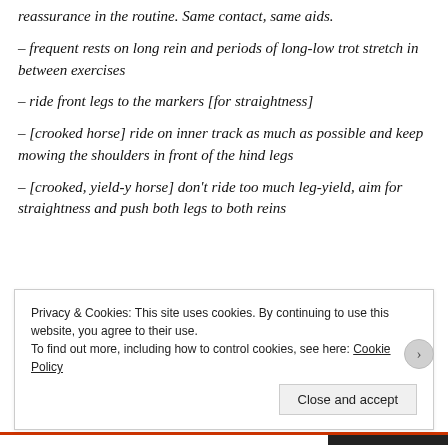reassurance in the routine. Same contact, same aids.
– frequent rests on long rein and periods of long-low trot stretch in between exercises
– ride front legs to the markers [for straightness]
– [crooked horse] ride on inner track as much as possible and keep mowing the shoulders in front of the hind legs
– [crooked, yield-y horse] don't ride too much leg-yield, aim for straightness and push both legs to both reins
Privacy & Cookies: This site uses cookies. By continuing to use this website, you agree to their use. To find out more, including how to control cookies, see here: Cookie Policy
Close and accept